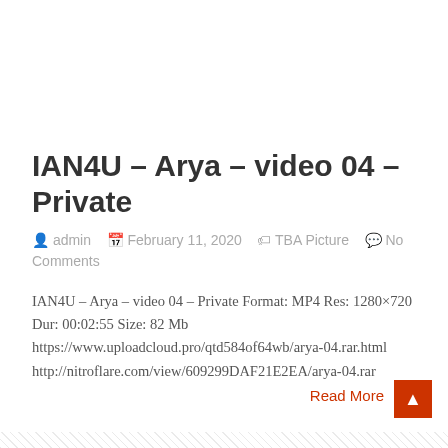IAN4U – Arya – video 04 – Private
admin   February 11, 2020   TBA Picture   No Comments
IAN4U – Arya – video 04 – Private Format: MP4 Res: 1280×720 Dur: 00:02:55 Size: 82 Mb https://www.uploadcloud.pro/qtd584of64wb/arya-04.rar.html http://nitroflare.com/view/609299DAF21E2EA/arya-04.rar
Read More